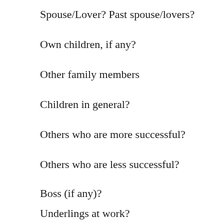Spouse/Lover? Past spouse/lovers?
Own children, if any?
Other family members
Children in general?
Others who are more successful?
Others who are less successful?
Boss (if any)?
Underlings at work?